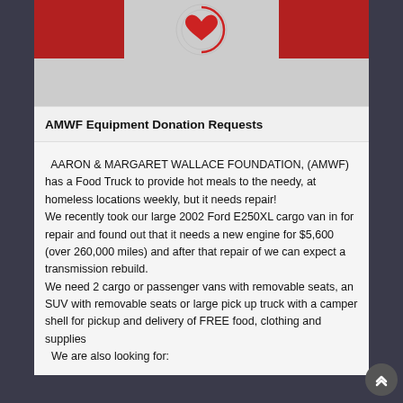[Figure (logo): AMWF logo banner with red sections on left and right, central heart/apple logo on grey background, and phone number below]
AMWF Equipment Donation Requests
AARON & MARGARET WALLACE FOUNDATION, (AMWF) has a Food Truck to provide hot meals to the needy, at homeless locations weekly, but it needs repair!
We recently took our large 2002 Ford E250XL cargo van in for repair and found out that it needs a new engine for $5,600 (over 260,000 miles) and after that repair of we can expect a transmission rebuild.
We need 2 cargo or passenger vans with removable seats, an SUV with removable seats or large pick up truck with a camper shell for pickup and delivery of FREE food, clothing and supplies
We are also looking for: